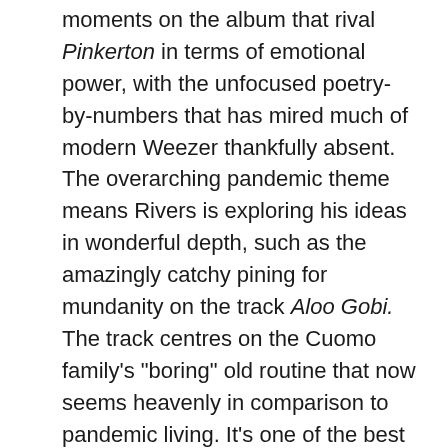moments on the album that rival Pinkerton in terms of emotional power, with the unfocused poetry-by-numbers that has mired much of modern Weezer thankfully absent. The overarching pandemic theme means Rivers is exploring his ideas in wonderful depth, such as the amazingly catchy pining for mundanity on the track Aloo Gobi. The track centres on the Cuomo family's "boring" old routine that now seems heavenly in comparison to pandemic living. It's one of the best cuts on the record, featuring an early contender for the catchiest hook of 2021. The whole album is littered with these earworm choruses. Like Grapes of Wrath, a track with a hook so catchy you can almost look past the whole song sounding like a three-minute ad for Audible.
Playing My Piano is a gorgeously composed reflection on the songwriting process in the 2020s. Rivers' depiction of his family life and the escapism brought by